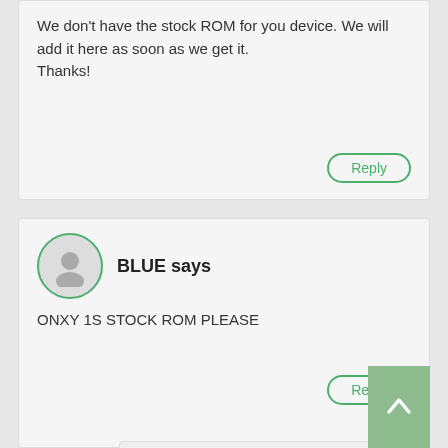We don't have the stock ROM for you device. We will add it here as soon as we get it. Thanks!
Reply
BLUE says
ONXY 1S STOCK ROM PLEASE
Reply
Sathishkumar Varatharajan says
Hi